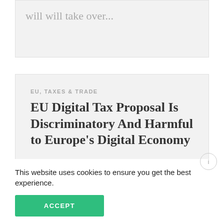will will take over...
EU, TAXES & TRADE
EU Digital Tax Proposal Is Discriminatory And Harmful to Europe's Digital Economy
By Heather Greenfield   MARCH 21, 2018
Brussels, BELGIUM — The
This website uses cookies to ensure you get the best experience.